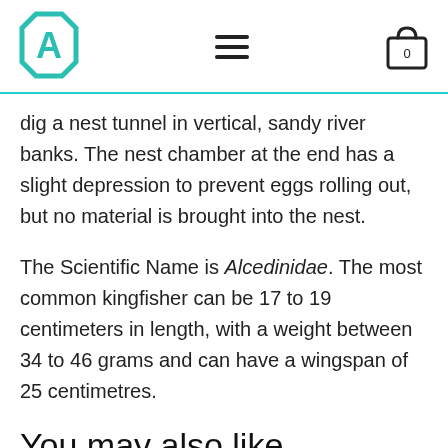[Logo: Apologia] [Hamburger menu] [Cart icon with 0]
dig a nest tunnel in vertical, sandy river banks. The nest chamber at the end has a slight depression to prevent eggs rolling out, but no material is brought into the nest.
The Scientific Name is Alcedinidae. The most common kingfisher can be 17 to 19 centimeters in length, with a weight between 34 to 46 grams and can have a wingspan of 25 centimetres.
You may also like…